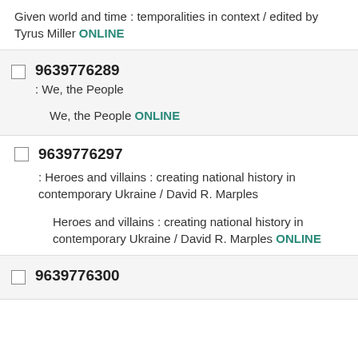Given world and time : temporalities in context / edited by Tyrus Miller ONLINE
9639776289
: We, the People
We, the People ONLINE
9639776297
: Heroes and villains : creating national history in contemporary Ukraine / David R. Marples
Heroes and villains : creating national history in contemporary Ukraine / David R. Marples ONLINE
9639776300